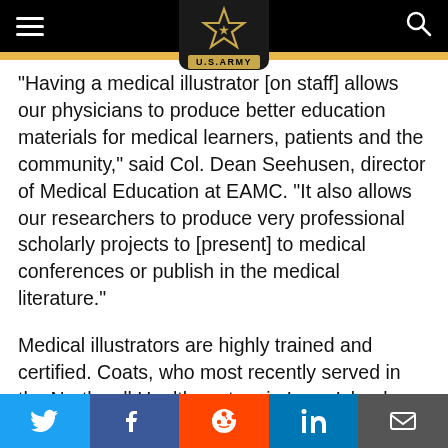U.S. Army navigation bar with hamburger menu and search icon
[Figure (logo): U.S. Army star logo badge with gold 'U.S.ARMY' label on black background, centered at top]
"Having a medical illustrator [on staff] allows our physicians to produce better education materials for medical learners, patients and the community," said Col. Dean Seehusen, director of Medical Education at EAMC. "It also allows our researchers to produce very professional scholarly projects to [present] to medical conferences or publish in the medical literature."
Medical illustrators are highly trained and certified. Coats, who most recently served in the Northwell Health system in Long Island, N.Y., earned a master's degree in medical illustration from the Medical
Social share bar: Twitter, Facebook, Reddit, LinkedIn, Email